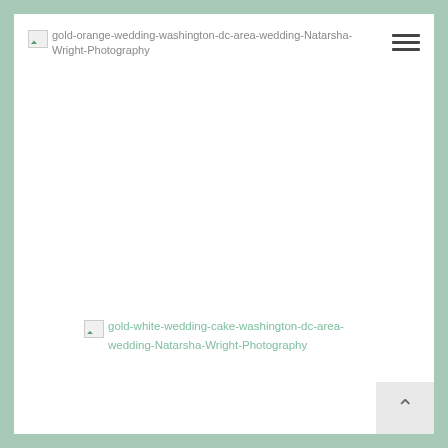[Figure (photo): Broken image placeholder with alt text: gold-orange-wedding-washington-dc-area-wedding-Natarsha-Wright-Photography]
[Figure (photo): Broken image placeholder with alt text: gold-white-wedding-cake-washington-dc-area-wedding-Natarsha-Wright-Photography]
[Figure (other): Back-to-top button with upward caret arrow in bottom-right corner]